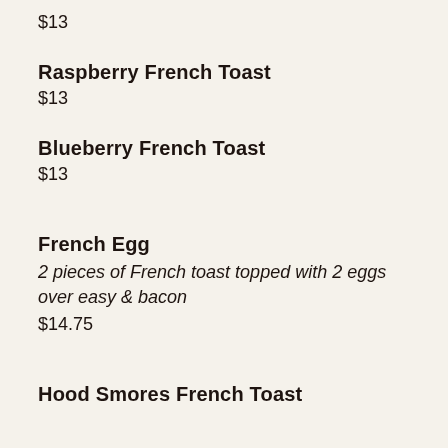$13
Raspberry French Toast
$13
Blueberry French Toast
$13
French Egg
2 pieces of French toast topped with 2 eggs over easy & bacon
$14.75
Hood Smores French Toast